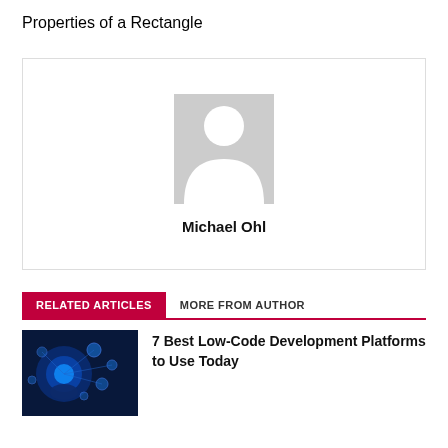Properties of a Rectangle
[Figure (other): Author card with placeholder avatar image and name Michael Ohl]
Michael Ohl
RELATED ARTICLES    MORE FROM AUTHOR
[Figure (photo): Thumbnail image of blue tech/digital interface with hand touching glowing icons]
7 Best Low-Code Development Platforms to Use Today